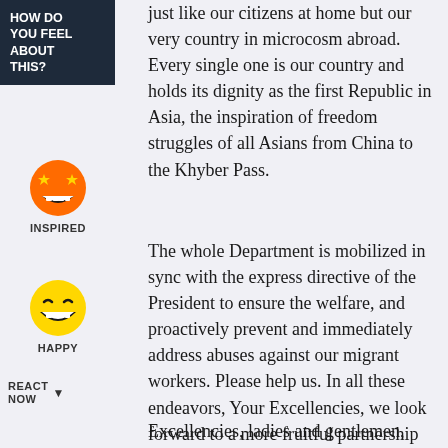[Figure (infographic): HOW DO YOU FEEL ABOUT THIS? sidebar widget with dark navy background]
[Figure (illustration): Inspired emoji - orange face with star eyes and big grin]
INSPIRED
[Figure (illustration): Happy emoji - yellow face with big smile showing teeth]
HAPPY
REACT NOW
just like our citizens at home but our very country in microcosm abroad. Every single one is our country and holds its dignity as the first Republic in Asia, the inspiration of freedom struggles of all Asians from China to the Khyber Pass.
The whole Department is mobilized in sync with the express directive of the President to ensure the welfare, and proactively prevent and immediately address abuses against our migrant workers. Please help us. In all these endeavors, Your Excellencies, we look forward to a more fruitful partnership between the Philippines and the countries you represent.
Excellencies, ladies and gentlemen, may I